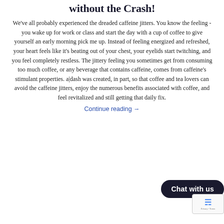without the Crash!
We've all probably experienced the dreaded caffeine jitters. You know the feeling - you wake up for work or class and start the day with a cup of coffee to give yourself an early morning pick me up. Instead of feeling energized and refreshed, your heart feels like it's beating out of your chest, your eyelids start twitching, and you feel completely restless. The jittery feeling you sometimes get from consuming too much coffee, or any beverage that contains caffeine, comes from caffeine's stimulant properties. a|dash was created, in part, so that coffee and tea lovers can avoid the caffeine jitters, enjoy the numerous benefits associated with coffee, and feel revitalized and still getting that daily fix.
Continue reading →